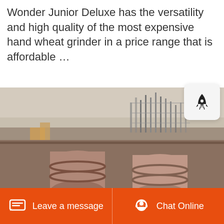Wonder Junior Deluxe has the versatility and high quality of the most expensive hand wheat grinder in a price range that is affordable …
Detail
[Figure (photo): Industrial facility with large cylindrical rotary kilns/pipes in the foreground, scaffolding and machinery in the background, dusty hazy sky]
[Figure (other): Rocket icon button (notification/launch widget)]
Leave a message   Chat Online